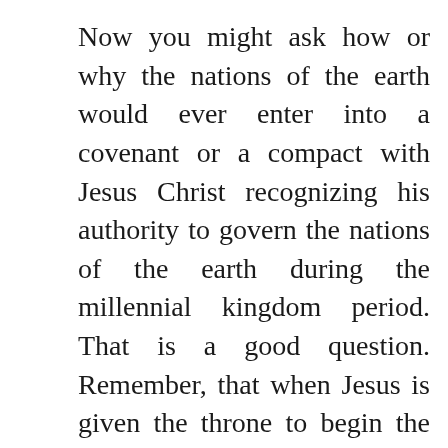Now you might ask how or why the nations of the earth would ever enter into a covenant or a compact with Jesus Christ recognizing his authority to govern the nations of the earth during the millennial kingdom period. That is a good question. Remember, that when Jesus is given the throne to begin the new millennial age, the state of the earth will be grim. Most of the major cities of the world will have been already been reduced to rubble, destroyed by earthquakes and hailstorms. The arable land will have been destroyed by pestilence. The food supply will be severely diminished. Business and agriculture will have come to a grinding halt. The military-industrial complex will be bankrupt and out of business. The economy of the world will be ruined and every insurance company either